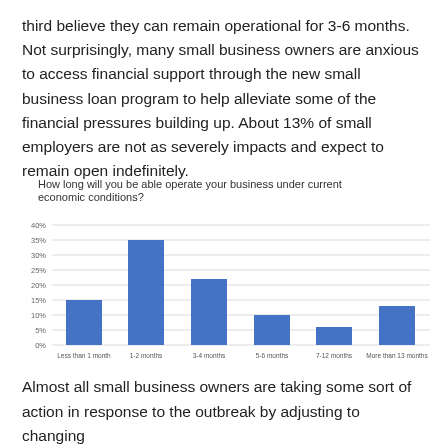third believe they can remain operational for 3-6 months. Not surprisingly, many small business owners are anxious to access financial support through the new small business loan program to help alleviate some of the financial pressures building up. About 13% of small employers are not as severely impacts and expect to remain open indefinitely.
[Figure (bar-chart): How long will you be able operate your business under current economic conditions?]
Almost all small business owners are taking some sort of action in response to the outbreak by adjusting to changing